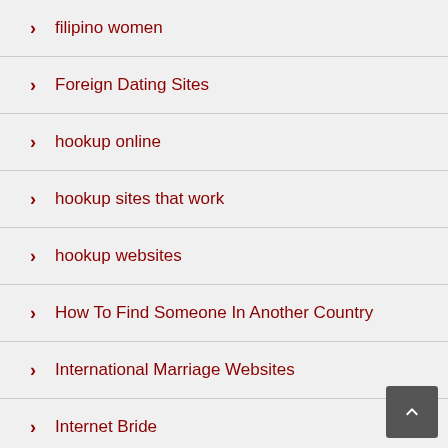filipino women
Foreign Dating Sites
hookup online
hookup sites that work
hookup websites
How To Find Someone In Another Country
International Marriage Websites
Internet Bride
interracial dating